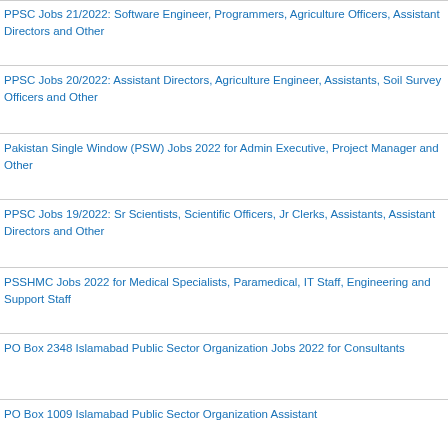PPSC Jobs 21/2022: Software Engineer, Programmers, Agriculture Officers, Assistant Directors and Other
PPSC Jobs 20/2022: Assistant Directors, Agriculture Engineer, Assistants, Soil Survey Officers and Other
Pakistan Single Window (PSW) Jobs 2022 for Admin Executive, Project Manager and Other
PPSC Jobs 19/2022: Sr Scientists, Scientific Officers, Jr Clerks, Assistants, Assistant Directors and Other
PSSHMC Jobs 2022 for Medical Specialists, Paramedical, IT Staff, Engineering and Support Staff
PO Box 2348 Islamabad Public Sector Organization Jobs 2022 for Consultants
PO Box 1009 Islamabad Public Sector Organization Assistant